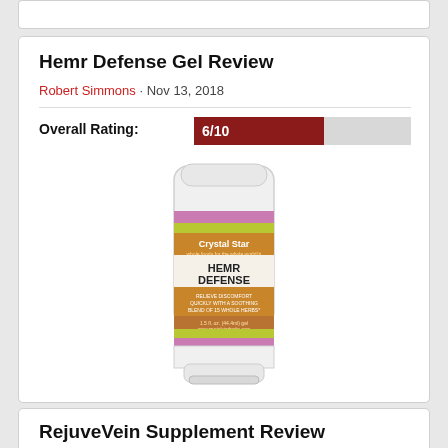Hemr Defense Gel Review
Robert Simmons · Nov 13, 2018
Overall Rating: 6/10
[Figure (photo): Crystal Star Hemr Defense gel tube product photo, white squeeze tube with orange/brown label]
RejuveVein Supplement Review